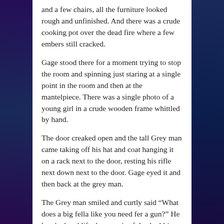and a few chairs, all the furniture looked rough and unfinished. And there was a crude cooking pot over the dead fire where a few embers still cracked.
Gage stood there for a moment trying to stop the room and spinning just staring at a single point in the room and then at the mantelpiece. There was a single photo of a young girl in a crude wooden frame whittled by hand.
The door creaked open and the tall Grey man came taking off his hat and coat hanging it on a rack next to the door, resting his rifle next down next to the door. Gage eyed it and then back at the grey man.
The Grey man smiled and curtly said “What does a big fella like you need fer a gun?” He laughed and lifted up a pair of dead rabbits and said. “Thought you might feel a little better if I got some breakfast in you.”